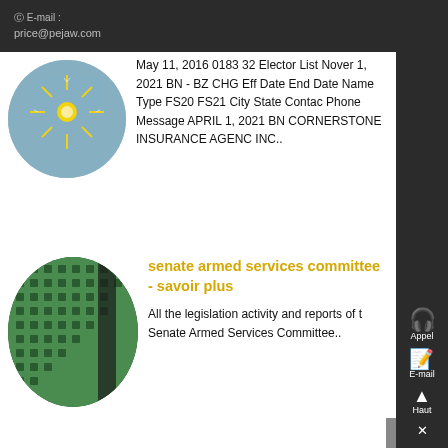E-mail : price@pejaw.com
[Figure (photo): Circular cropped photo of a firework or spark explosion against a blue background]
May 11, 2016 0183 32 Elector List November 1, 2021 BN - BZ CHG Eff Date End Date Name Type FS20 FS21 City State Contact Phone Message APRIL 1, 2021 BN CORNERSTONE INSURANCE AGENCY INC..
[Figure (photo): Circular cropped photo of a green metal grate or grid panel]
senate armed services committee - savoir plus
All the legislation activity and reports of the Senate Armed Services Committee..